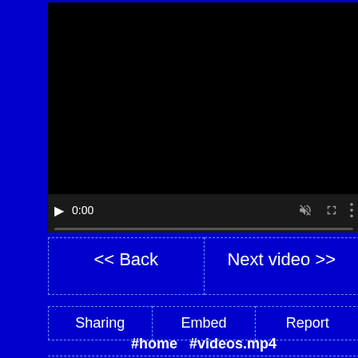[Figure (screenshot): Video player with black screen, play button, 0:00 timestamp, mute icon, fullscreen icon, and more options icon, with a progress bar at the bottom]
| << Back | Next video >> |
| Sharing | Embed | Report |
#home  #videos.mp4